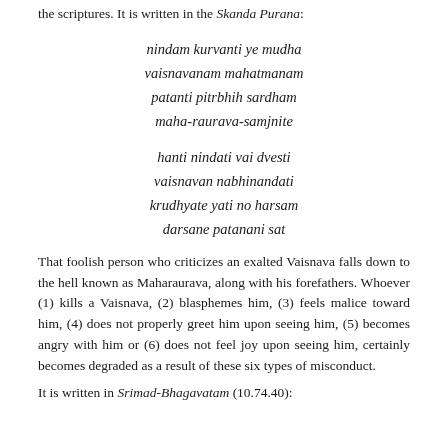the scriptures. It is written in the Skanda Purana:
That foolish person who criticizes an exalted Vaisnava falls down to the hell known as Maharaurava, along with his forefathers. Whoever (1) kills a Vaisnava, (2) blasphemes him, (3) feels malice toward him, (4) does not properly greet him upon seeing him, (5) becomes angry with him or (6) does not feel joy upon seeing him, certainly becomes degraded as a result of these six types of misconduct.
It is written in Srimad-Bhagavatam (10.74.40):